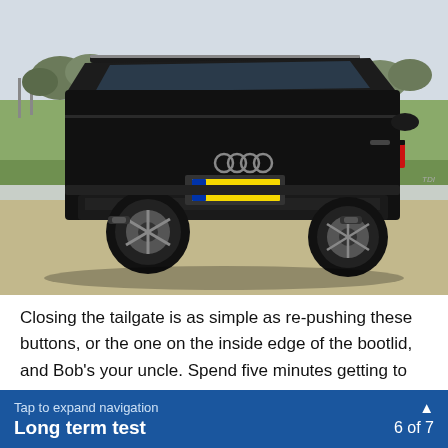[Figure (photo): Rear three-quarter view of a black Audi Q7 SUV (registration plate KN65 HWA) parked on a concrete surface with green fields and bare trees in the background.]
Closing the tailgate is as simple as re-pushing these buttons, or the one on the inside edge of the bootlid, and Bob's your uncle. Spend five minutes getting to know
Tap to expand navigation  Long term test  6 of 7